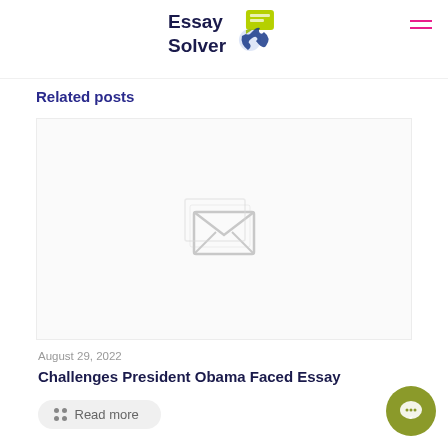[Figure (logo): EssaySolver logo with stylized phone and chat icons]
Related posts
[Figure (photo): Placeholder image with broken/missing image icon (grey envelope/landscape placeholder)]
August 29, 2022
Challenges President Obama Faced Essay
Read more